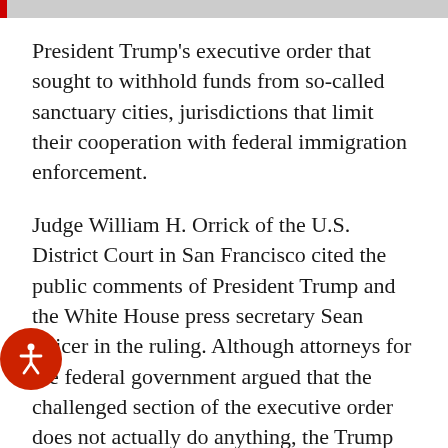President Trump's executive order that sought to withhold funds from so-called sanctuary cities, jurisdictions that limit their cooperation with federal immigration enforcement.
Judge William H. Orrick of the U.S. District Court in San Francisco cited the public comments of President Trump and the White House press secretary Sean Spicer in the ruling. Although attorneys for the federal government argued that the challenged section of the executive order does not actually do anything, the Trump administration has touted the order as a broad attack on sanctuary jurisdictions.